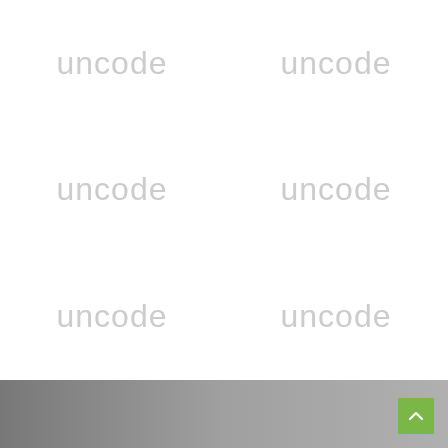[Figure (logo): Six 'uncode' logo text instances arranged in a 2-column, 3-row grid on a white background, all in light gray color]
[Figure (photo): Gray footer bar with blurred/muted background image and a green scroll-to-top button in the bottom right corner]